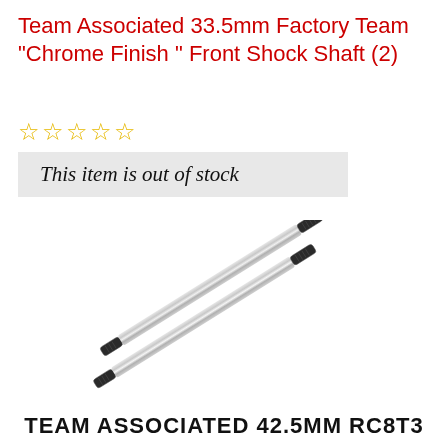Team Associated 33.5mm Factory Team "Chrome Finish " Front Shock Shaft (2)
☆☆☆☆☆
This item is out of stock
[Figure (photo): Two silver/chrome threaded shock shafts with dark threaded ends, arranged diagonally side by side]
TEAM ASSOCIATED 42.5MM RC8T3